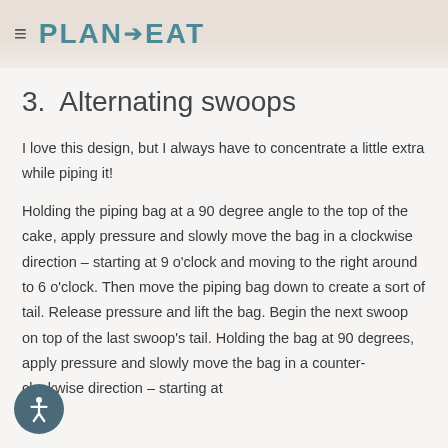≡ PLAN to EAT
3.  Alternating swoops
I love this design, but I always have to concentrate a little extra while piping it!
Holding the piping bag at a 90 degree angle to the top of the cake, apply pressure and slowly move the bag in a clockwise direction – starting at 9 o'clock and moving to the right around to 6 o'clock. Then move the piping bag down to create a sort of tail. Release pressure and lift the bag. Begin the next swoop on top of the last swoop's tail. Holding the bag at 90 degrees, apply pressure and slowly move the bag in a counter-clockwise direction – starting at